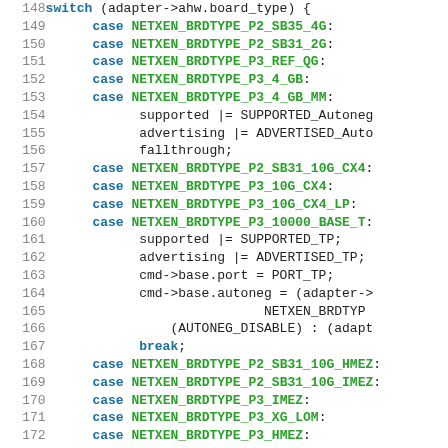[Figure (screenshot): Source code listing showing a C switch statement with case labels for NETXEN board types, lines 148-174. Keywords in blue bold, constants in green bold, plain code in dark text.]